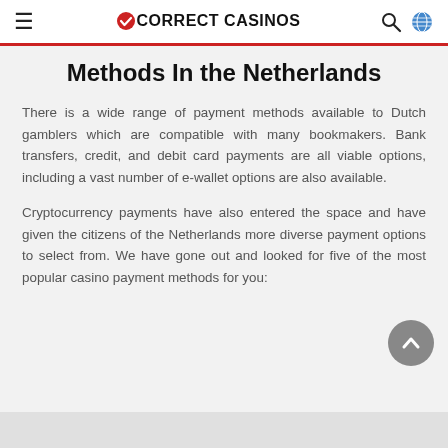CORRECT CASINOS
Methods In the Netherlands
There is a wide range of payment methods available to Dutch gamblers which are compatible with many bookmakers. Bank transfers, credit, and debit card payments are all viable options, including a vast number of e-wallet options are also available.
Cryptocurrency payments have also entered the space and have given the citizens of the Netherlands more diverse payment options to select from. We have gone out and looked for five of the most popular casino payment methods for you: